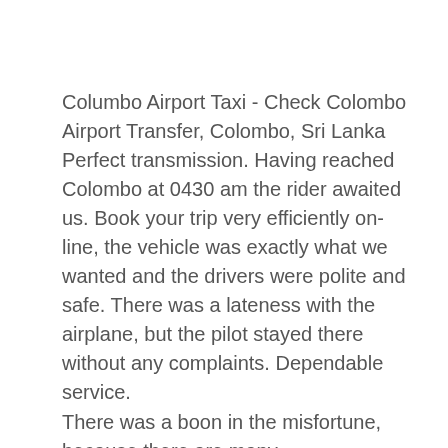Columbo Airport Taxi - Check Colombo Airport Transfer, Colombo, Sri Lanka Perfect transmission. Having reached Colombo at 0430 am the rider awaited us. Book your trip very efficiently on-line, the vehicle was exactly what we wanted and the drivers were polite and safe. There was a lateness with the airplane, but the pilot stayed there without any complaints. Dependable service.
There was a boon in the misfortune, because there are many